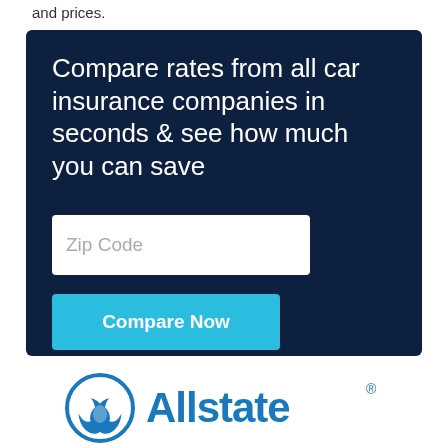and prices.
[Figure (infographic): Dark navy blue box with white text: 'Compare rates from all car insurance companies in seconds & see how much you can save', a white Zip Code input field, and a cyan 'Compare Now' button.]
[Figure (logo): Allstate logo with circular icon of two hands and blue 'Allstate' text with registered trademark symbol.]